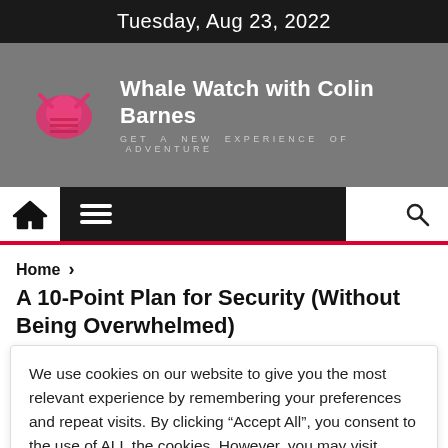Tuesday, Aug 23, 2022
[Figure (logo): Whale Watch with Colin Barnes logo with pink cartoon whale/figure icon and subtitle 'GET A NEW EXPERIENCE OF ADVENTURE']
[Figure (screenshot): Navigation bar with home icon, hamburger menu, dark mode toggle, and search icon]
Home > A 10-Point Plan for Security (Without Being Overwhelmed)
We use cookies on our website to give you the most relevant experience by remembering your preferences and repeat visits. By clicking "Accept All", you consent to the use of ALL the cookies. However, you may visit 'Cookie Settings' to provide a controlled consent.